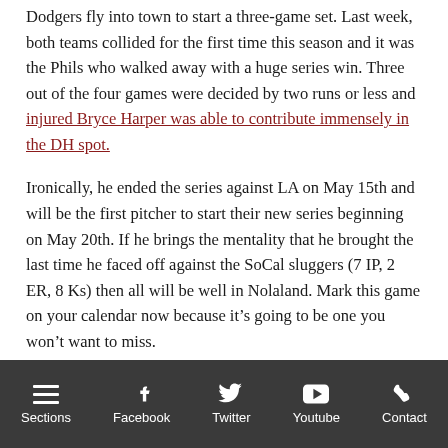Dodgers fly into town to start a three-game set. Last week, both teams collided for the first time this season and it was the Phils who walked away with a huge series win. Three out of the four games were decided by two runs or less and injured Bryce Harper was able to contribute immensely in the DH spot.
Ironically, he ended the series against LA on May 15th and will be the first pitcher to start their new series beginning on May 20th. If he brings the mentality that he brought the last time he faced off against the SoCal sluggers (7 IP, 2 ER, 8 Ks) then all will be well in Nolaland. Mark this game on your calendar now because it's going to be one you won't want to miss.
[Figure (infographic): Social sharing buttons: Facebook (blue), Twitter (light blue), Plus/Share (orange-red)]
Sections  Facebook  Twitter  Youtube  Contact